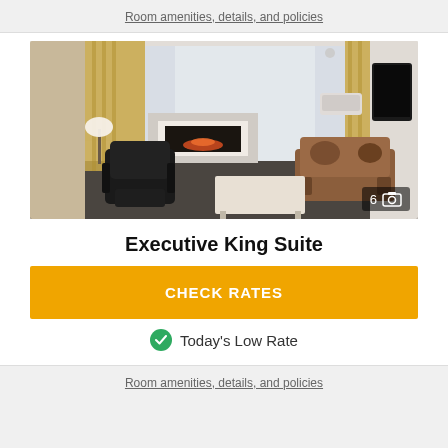Room amenities, details, and policies
[Figure (photo): Hotel Executive King Suite interior showing a living area with leather recliner chair, brown leather sofa, coffee table, fireplace, floor-to-ceiling curtains, wall-mounted AC unit, and a TV. Badge shows 6 photos.]
Executive King Suite
CHECK RATES
Today's Low Rate
Room amenities, details, and policies